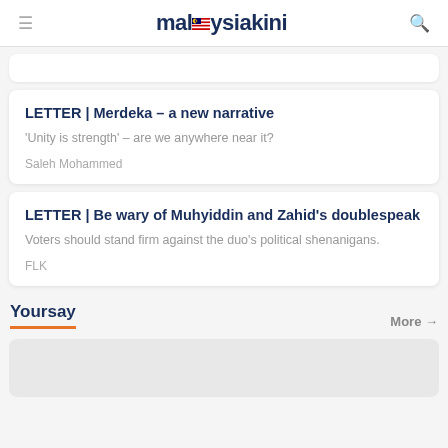malaysiakini
LETTER | Merdeka - a new narrative
'Unity is strength' - are we anywhere near it?
Saleh Mohammed
LETTER | Be wary of Muhyiddin and Zahid's doublespeak
Voters should stand firm against the duo's political shenanigans.
FLK
Yoursay